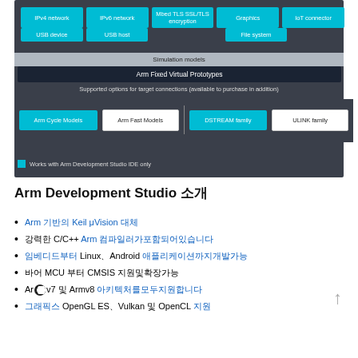[Figure (schematic): Arm Development Studio component diagram showing networking/USB/security/graphics modules, Simulation models band, Arm Fixed Virtual Prototypes bar, supported options for target connections, and four model/probe family boxes with legend.]
Arm Development Studio 소개
Arm 기반의 Keil μVision 대체
강력한 C/C++ Arm 컴파일러가포함되어있습니다
임베디드부터 Linux、Android 애플리케이션까지개발가능
바어 MCU 부터 CMSIS 지원및확장가능
Armv7 및 Armv8 아키텍처를모두지원합니다
그래픽스 OpenGL ES、Vulkan 및 OpenCL 지원